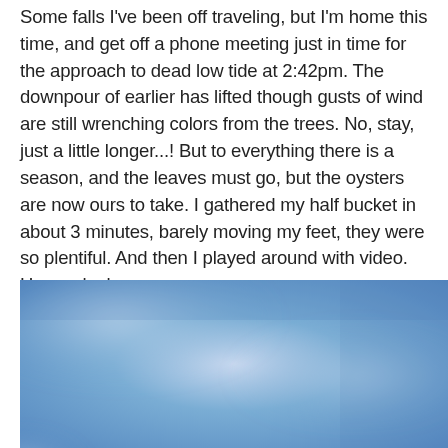Some falls I've been off traveling, but I'm home this time, and get off a phone meeting just in time for the approach to dead low tide at 2:42pm. The downpour of earlier has lifted though gusts of wind are still wrenching colors from the trees. No, stay, just a little longer...! But to everything there is a season, and the leaves must go, but the oysters are now ours to take. I gathered my half bucket in about 3 minutes, barely moving my feet, they were so plentiful. And then I played around with video. Have a look...
[Figure (photo): A blurry, soft-focus photograph of a blue sky with pale clouds and a bright diffuse light source near the bottom left, giving a dreamy atmospheric appearance.]